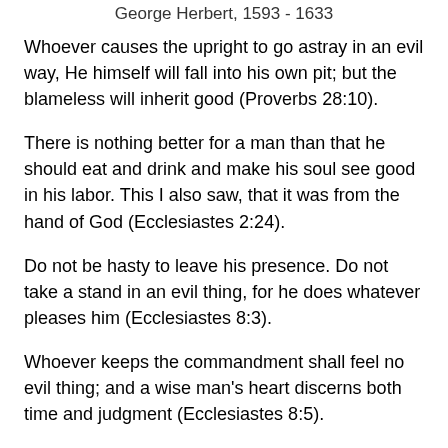George Herbert, 1593 - 1633
Whoever causes the upright to go astray in an evil way, He himself will fall into his own pit; but the blameless will inherit good (Proverbs 28:10).
There is nothing better for a man than that he should eat and drink and make his soul see good in his labor. This I also saw, that it was from the hand of God (Ecclesiastes 2:24).
Do not be hasty to leave his presence. Do not take a stand in an evil thing, for he does whatever pleases him (Ecclesiastes 8:3).
Whoever keeps the commandment shall feel no evil thing; and a wise man's heart discerns both time and judgment (Ecclesiastes 8:5).
The merciful man does himself good, but the cruel man